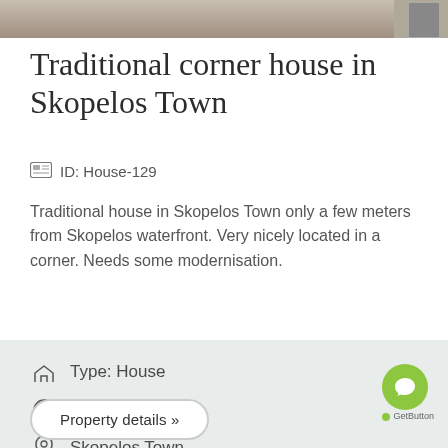[Figure (photo): Top strip showing partial photo of a traditional stone house exterior]
Traditional corner house in Skopelos Town
ID: House-129
Traditional house in Skopelos Town only a few meters from Skopelos waterfront. Very nicely located in a corner. Needs some modernisation.
Type: House
Price: 90,000 €
Skopelos Town
Property details »